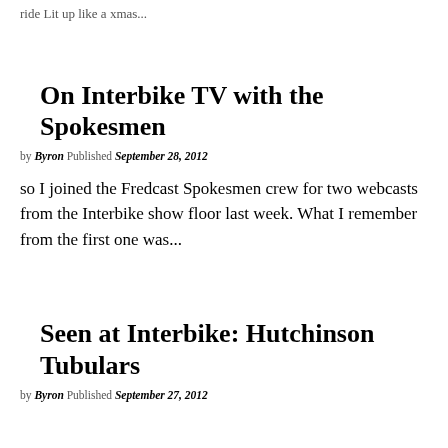ride Lit up like a xmas...
On Interbike TV with the Spokesmen
by Byron Published September 28, 2012
so I joined the Fredcast Spokesmen crew for two webcasts from the Interbike show floor last week. What I remember from the first one was...
Seen at Interbike: Hutchinson Tubulars
by Byron Published September 27, 2012